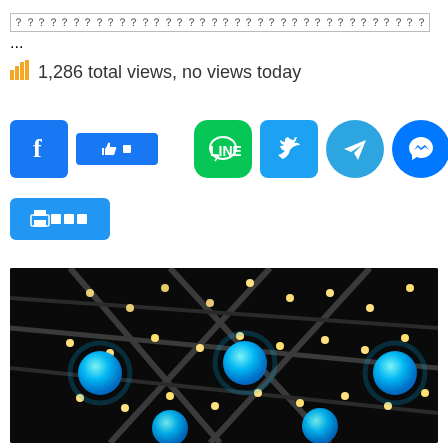？？？？？？？？？？？？？？？？？？？？？？？？？？？？？？？？？？？？ ...
1,286 total views, no views today
[Figure (screenshot): Social share buttons: Facebook, Facebook Like, LINE, Twitter, Telegram, Messenger, Weibo, WeChat, and a Print button]
[Figure (photo): Dark ceiling with geometric light installation: glowing cyan/blue spheres and warm white Edison bulb string lights arranged in geometric patterns]